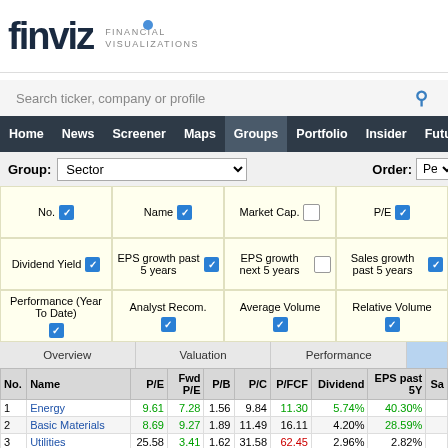[Figure (logo): Finviz Financial Visualizations logo with blue dot]
Search ticker, company or profile
Home | News | Screener | Maps | Groups | Portfolio | Insider | Futures
Group: Sector | Order: Pe
| No. | Name | P/E | Fwd P/E | P/B | P/C | P/FCF | Dividend | EPS past 5Y | Sa |
| --- | --- | --- | --- | --- | --- | --- | --- | --- | --- |
| 1 | Energy | 9.61 | 7.28 | 1.56 | 9.84 | 11.30 | 5.74% | 40.30% |  |
| 2 | Basic Materials | 8.69 | 9.27 | 1.89 | 11.49 | 16.11 | 4.20% | 28.59% |  |
| 3 | Utilities | 25.58 | 3.41 | 1.62 | 31.58 | 62.45 | 2.96% | 2.82% |  |
| 4 | Consumer Cyclical | 22.32 | 12.10 | 2.80 | 9.71 | 39.99 | 0.97% | 28.66% |  |
| 5 | Financial | 13.98 | 12.31 | 0.01 | 0.54 | 11.72 | 2.44% | 20.26% |  |